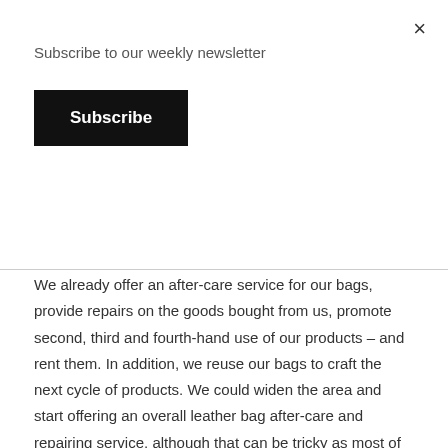Subscribe to our weekly newsletter
Subscribe
We already offer an after-care service for our bags, provide repairs on the goods bought from us, promote second, third and fourth-hand use of our products – and rent them. In addition, we reuse our bags to craft the next cycle of products. We could widen the area and start offering an overall leather bag after-care and repairing service, although that can be tricky as most of the leather bags out there are hard to repair and care.
The goal of this article isn't to complain. I want to share my experience. Everything is connected. Right now,